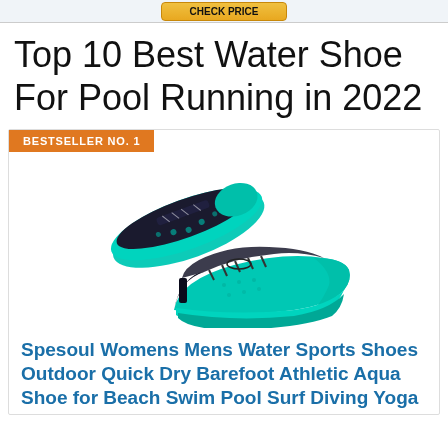[Button]
Top 10 Best Water Shoe For Pool Running in 2022
BESTSELLER NO. 1
[Figure (photo): Two teal/turquoise and black water sports shoes — one showing sole, one showing top — on white background]
Spesoul Womens Mens Water Sports Shoes Outdoor Quick Dry Barefoot Athletic Aqua Shoe for Beach Swim Pool Surf Diving Yoga